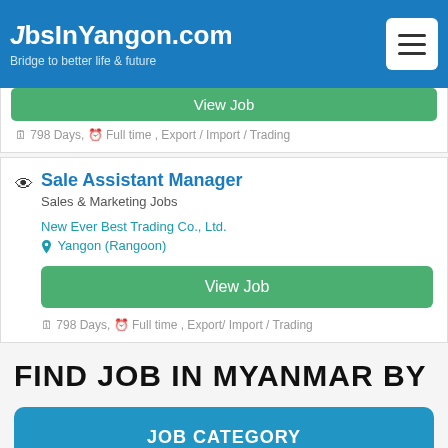JobsInYangon.com — Bridge to better life & future
798 Days, Full time , Export / Import / Trading
Sale Assistant Manager
Sales & Marketing Jobs
New Ever Best Trading Co., Ltd.
Yangon (Rangoon)
View Job
798 Days, Full time , Export / Import / Trading
FIND JOB IN MYANMAR BY
JOB CATEGORY
LOCATION